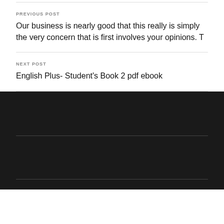PREVIOUS POST
Our business is nearly good that this really is simply the very concern that is first involves your opinions. T
NEXT POST
English Plus- Student's Book 2 pdf ebook